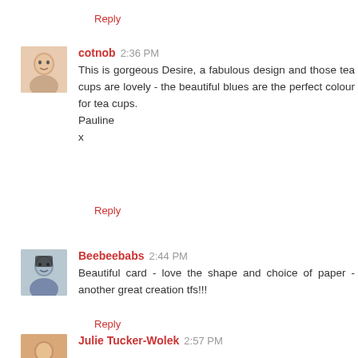Reply
cotnob 2:36 PM
This is gorgeous Desire, a fabulous design and those tea cups are lovely - the beautiful blues are the perfect colour for tea cups.
Pauline
x
Reply
Beebeebabs 2:44 PM
Beautiful card - love the shape and choice of paper - another great creation tfs!!!
Reply
Julie Tucker-Wolek 2:57 PM